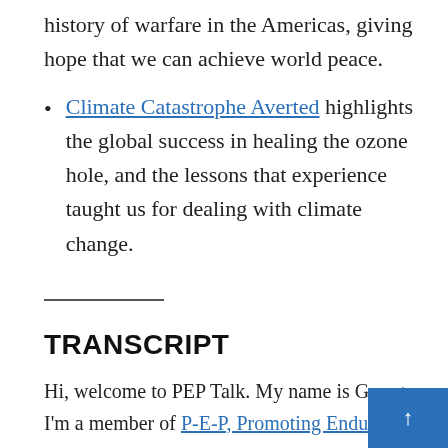history of warfare in the Americas, giving hope that we can achieve world peace.
Climate Catastrophe Averted highlights the global success in healing the ozone hole, and the lessons that experience taught us for dealing with climate change.
TRANSCRIPT
Hi, welcome to PEP Talk. My name is Georg... I'm a member of P-E-P, Promoting Enduring...